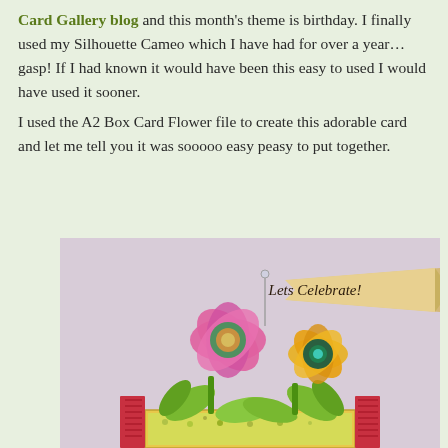Card Gallery blog and this month's theme is birthday. I finally used my Silhouette Cameo which I have had for over a year…gasp! If I had known it would have been this easy to used I would have used it sooner. I used the A2 Box Card Flower file to create this adorable card and let me tell you it was sooooo easy peasy to put together.
[Figure (photo): A handmade pop-up box card featuring two large paper flowers — one pink and one yellow/orange — with green leaves and stems, sitting in a decorative box base. A banner reading 'Lets Celebrate!' is displayed above the flowers.]